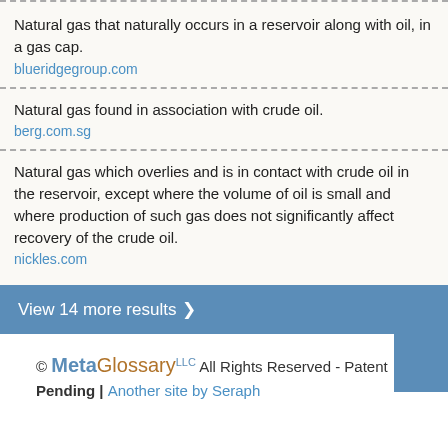Natural gas that naturally occurs in a reservoir along with oil, in a gas cap.
blueridgegroup.com
Natural gas found in association with crude oil.
berg.com.sg
Natural gas which overlies and is in contact with crude oil in the reservoir, except where the volume of oil is small and where production of such gas does not significantly affect recovery of the crude oil.
nickles.com
View 14 more results ▶
© MetaGlossary LLC All Rights Reserved - Patent Pending | Another site by Seraph